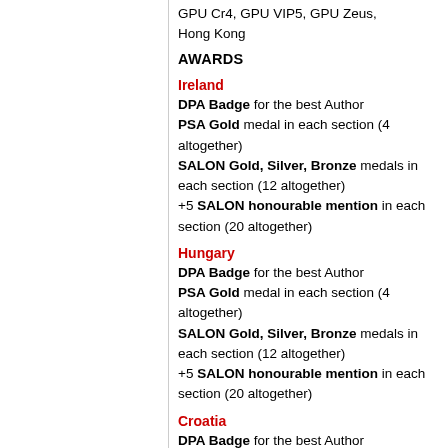GPU Cr4, GPU VIP5, GPU Zeus, Hong Kong
AWARDS
Ireland
DPA Badge for the best Author
PSA Gold medal in each section (4 altogether)
SALON Gold, Silver, Bronze medals in each section (12 altogether)
+5 SALON honourable mention in each section (20 altogether)
Hungary
DPA Badge for the best Author
PSA Gold medal in each section (4 altogether)
SALON Gold, Silver, Bronze medals in each section (12 altogether)
+5 SALON honourable mention in each section (20 altogether)
Croatia
DPA Badge for the best Author
PSA Gold medal in each section (4 altogether)
SALON Gold, Silver, Bronze medals in each section (12 altogether)
+5 SALON honourable mention in